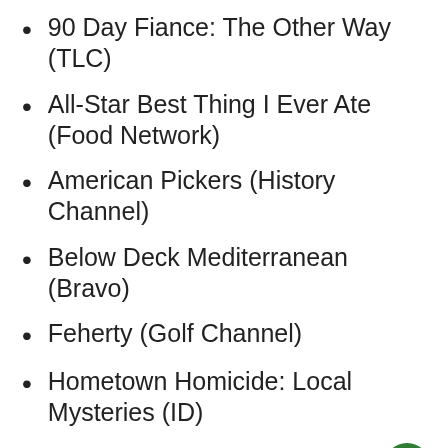90 Day Fiance: The Other Way (TLC)
All-Star Best Thing I Ever Ate (Food Network)
American Pickers (History Channel)
Below Deck Mediterranean (Bravo)
Feherty (Golf Channel)
Hometown Homicide: Local Mysteries (ID)
I May Destroy You (HBO)
Love & Listings (VH1)
Penn & Teller: Try This at Home Too (The CW, One-Hour Special)